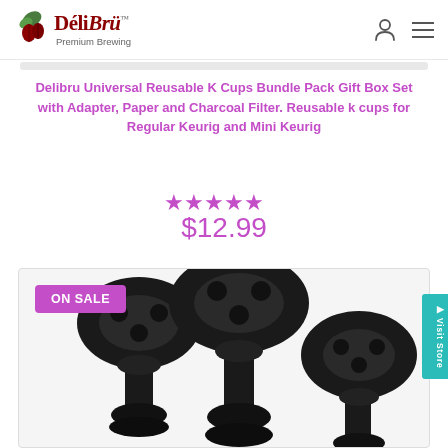DéliBrü Premium Brewing
Delibru Universal Reusable K Cups Bundle Pack Gift Box Set with Adapter, Paper and Charcoal Filter. Reusable k cups for Regular Keurig and Mini Keurig
★★★★★
$12.99
[Figure (photo): Black reusable K-cup adapters/filters product photo with ON SALE badge]
Visit Store